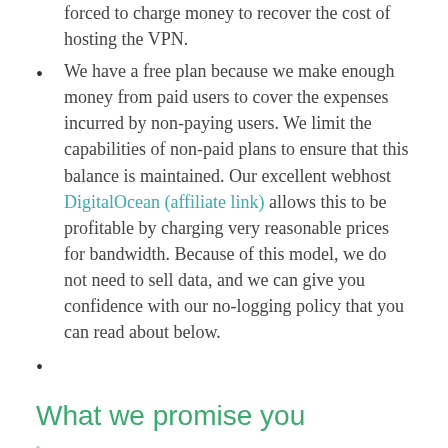forced to charge money to recover the cost of hosting the VPN.
We have a free plan because we make enough money from paid users to cover the expenses incurred by non-paying users. We limit the capabilities of non-paid plans to ensure that this balance is maintained. Our excellent webhost DigitalOcean (affiliate link) allows this to be profitable by charging very reasonable prices for bandwidth. Because of this model, we do not need to sell data, and we can give you confidence with our no-logging policy that you can read about below.
What we promise you
Log means to write data to disk or any permanent location, including sending